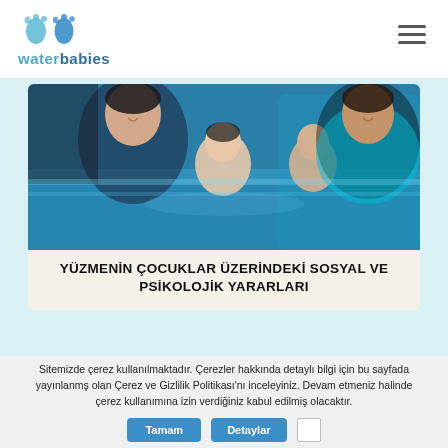[Figure (logo): Water Babies logo with two blue footprints and brand name 'waterbabies' in blue]
[Figure (photo): Two women in a swimming pool holding two babies in the water, an indoor pool with blue water, one instructor wears black swimwear the other wears a black and teal wetsuit]
YÜZMENİN ÇOCUKLAR ÜZERİNDEKİ SOSYAL VE PSİKOLOJİK YARARLARI
Sitemizde çerez kullanılmaktadır. Çerezler hakkında detaylı bilgi için bu sayfada yayınlanmş olan Çerez ve Gizlilik Politikası'nı inceleyiniz. Devam etmeniz halinde çerez kullanımına izin verdiğiniz kabul edilmiş olacaktır.